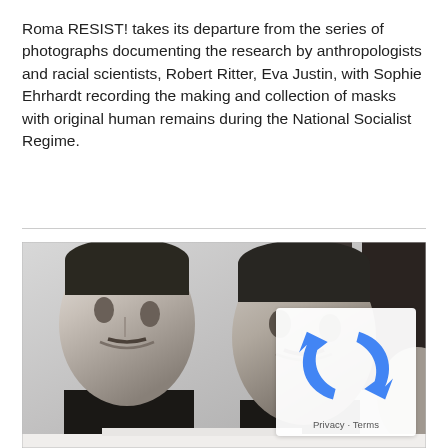Roma RESIST! takes its departure from the series of photographs documenting the research by anthropologists and racial scientists, Robert Ritter, Eva Justin, with Sophie Ehrhardt recording the making and collection of masks with original human remains during the National Socialist Regime.
[Figure (photo): Black and white photograph showing two sculpted or cast human head busts/masks mounted on dark stands, displayed side by side. The subjects appear to be of South Asian or Roma descent, both male with dark hair and mustaches. A partial third figure is visible at the far right edge.]